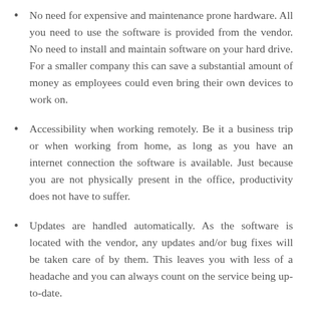No need for expensive and maintenance prone hardware. All you need to use the software is provided from the vendor. No need to install and maintain software on your hard drive. For a smaller company this can save a substantial amount of money as employees could even bring their own devices to work on.
Accessibility when working remotely. Be it a business trip or when working from home, as long as you have an internet connection the software is available. Just because you are not physically present in the office, productivity does not have to suffer.
Updates are handled automatically. As the software is located with the vendor, any updates and/or bug fixes will be taken care of by them. This leaves you with less of a headache and you can always count on the service being up-to-date.